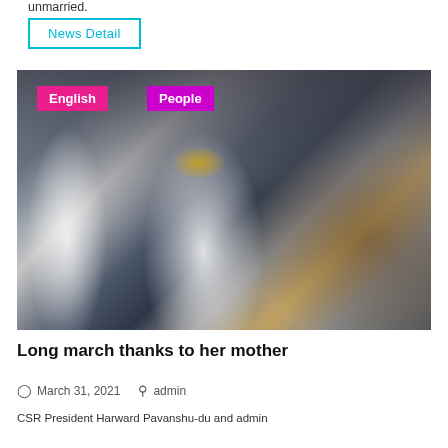unmarried.
News Detail
[Figure (photo): A woman in white naval/military uniform with gold epaulettes holding a sword, marching in a parade. Uniformed guards to the left, crowd of onlookers to the right. Tags 'English' (magenta) and 'People' (purple) overlay the top-left of the image.]
Long march thanks to her mother
March 31, 2021  admin
CSR President Harward Pavanshu-du and admin